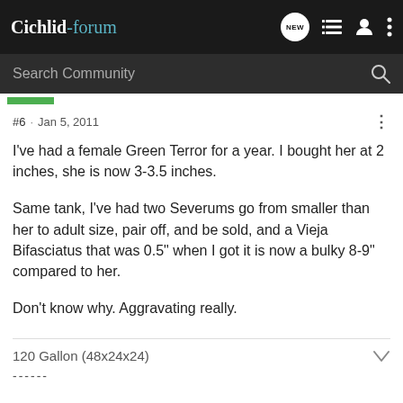Cichlid-forum
#6 · Jan 5, 2011
I've had a female Green Terror for a year. I bought her at 2 inches, she is now 3-3.5 inches.

Same tank, I've had two Severums go from smaller than her to adult size, pair off, and be sold, and a Vieja Bifasciatus that was 0.5" when I got it is now a bulky 8-9" compared to her.

Don't know why. Aggravating really.
120 Gallon (48x24x24)
------